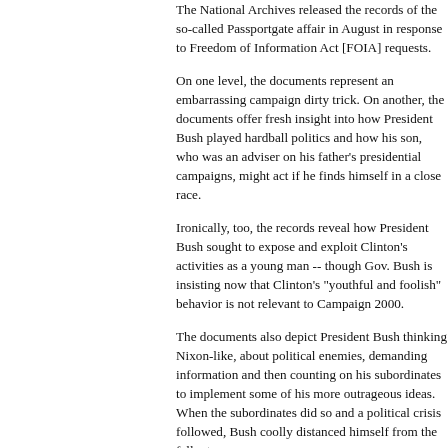The National Archives released the records of the so-called Passportgate affair in August in response to Freedom of Information Act [FOIA] requests.
On one level, the documents represent an embarrassing campaign dirty trick. On another, the documents offer fresh insight into how President Bush played hardball politics and how his son, who was an adviser on his father's presidential campaigns, might act if he finds himself in a close race.
Ironically, too, the records reveal how President Bush sought to expose and exploit Clinton's activities as a young man -- though Gov. Bush is insisting now that Clinton's "youthful and foolish" behavior is not relevant to Campaign 2000.
The documents also depict President Bush thinking Nixon-like, about political enemies, demanding information and then counting on his subordinates to implement some of his more outrageous ideas. When the subordinates did so and a political crisis followed, Bush coolly distanced himself from the fallout.
Prior to the release of these documents, th...